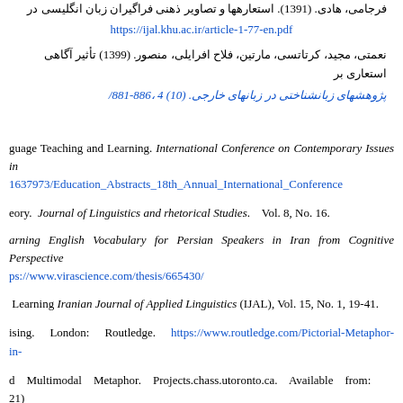فرجامی، هادی. (1391). استعارهها و تصاویر ذهنی فراگیران زبان انگلیسی در... https://ijal.khu.ac.ir/article-1-77-en.pdf
نعمتی، مجید، کرتاتسی، مارتین، فلاح افرایلی، منصور. (1399) تأثیر آگاهی استعاری بر... پژوهشهای زبانشناختی در زبانهای خارجی. (10) 4 ،886-881/
...guage Teaching and Learning. International Conference on Contemporary Issues in... 1637973/Education_Abstracts_18th_Annual_International_Conference
...eory.  Journal of Linguistics and rhetorical Studies.  Vol. 8, No. 16.
...arning English Vocabulary for Persian Speakers in Iran from Cognitive Perspective  https://www.virascience.com/thesis/665430/
...Learning  Iranian Journal of Applied Linguistics (IJAL), Vol. 15, No. 1, 19-41.
...ising.  London:  Routledge.  https://www.routledge.com/Pictorial-Metaphor-in-
...d  Multimodal  Metaphor.  Projects.chass.utoronto.ca.  Available  from:  ...21)